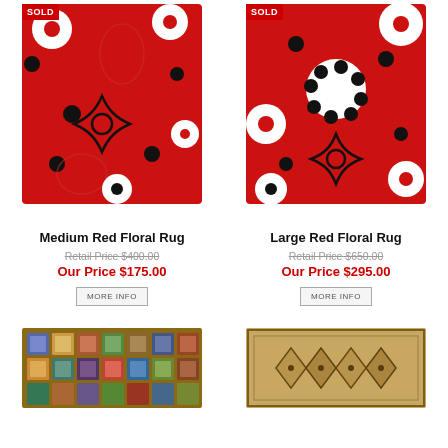[Figure (photo): Medium Red Floral Rug product image with SOLD badge, red background with white and black daisy flowers]
[Figure (photo): Large Red Floral Rug product image with SOLD badge, red background with white and black daisy flowers]
Medium Red Floral Rug
Large Red Floral Rug
Retail Price $400.00
Our Price $175.00
Retail Price $650.00
Our Price $295.00
MORE INFO
MORE INFO
[Figure (photo): Small geometric patchwork rug with colorful squares pattern]
[Figure (photo): Brown geometric patterned rug]